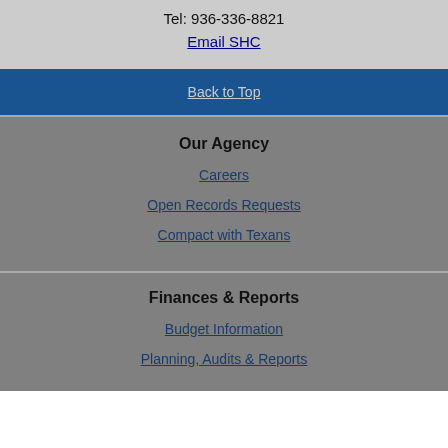Tel: 936-336-8821
Email SHC
Back to Top
Our Agency
Careers
Open Records Requests
Compact with Texans
Finances & Reports
Budget Information
Planning, Audits & Reports